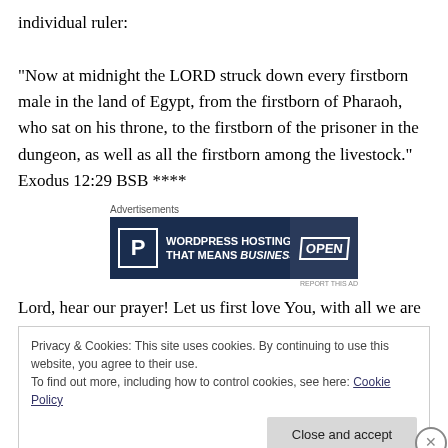individual ruler:
“Now at midnight the LORD struck down every firstborn male in the land of Egypt, from the firstborn of Pharaoh, who sat on his throne, to the firstborn of the prisoner in the dungeon, as well as all the firstborn among the livestock.” Exodus 12:29 BSB ****
[Figure (other): Advertisement banner for WordPress Hosting: dark navy background with a bold P logo in a box on the left, text 'WORDPRESS HOSTING THAT MEANS BUSINESS.' in white, and an OPEN sign photo on the right.]
Lord, hear our prayer! Let us first love You, with all we are
Privacy & Cookies: This site uses cookies. By continuing to use this website, you agree to their use.
To find out more, including how to control cookies, see here: Cookie Policy